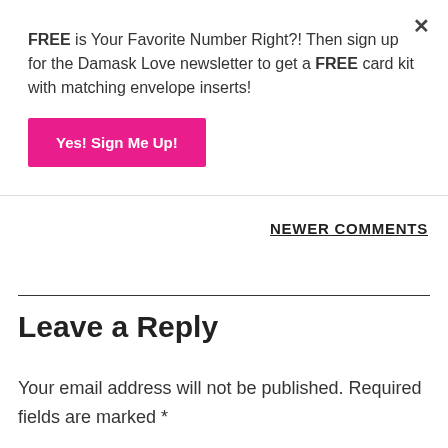FREE is Your Favorite Number Right?! Then sign up for the Damask Love newsletter to get a FREE card kit with matching envelope inserts!
Yes! Sign Me Up!
NEWER COMMENTS
Leave a Reply
Your email address will not be published. Required fields are marked *